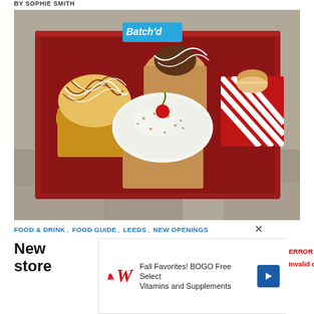BY SOPHIE SMITH
[Figure (photo): A red bakery box labeled 'Batch'd' containing several decorated cupcakes and pastries including one with white frosting and a cherry on top, one with caramel drizzle in a yellow wrapper, and one in a red striped wrapper with a macaron on top.]
FOOD & DRINK, FOOD GUIDE, LEEDS, NEW OPENINGS
New store
Fall Favorites! BOGO Free Select Vitamins and Supplements
ERROR fo Invalid do